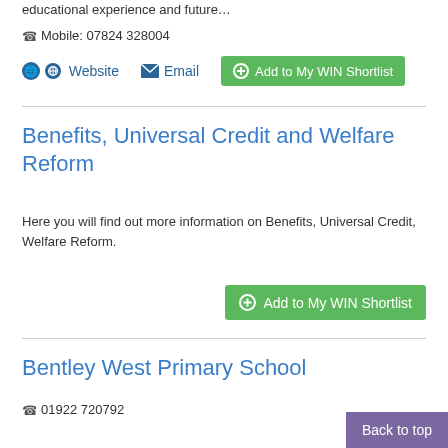educational experience and future…
Mobile: 07824 328004
Website  Email  Add to My WIN Shortlist
Benefits, Universal Credit and Welfare Reform
Here you will find out more information on Benefits, Universal Credit, Welfare Reform.
Add to My WIN Shortlist
Bentley West Primary School
01922 720792
Back to top